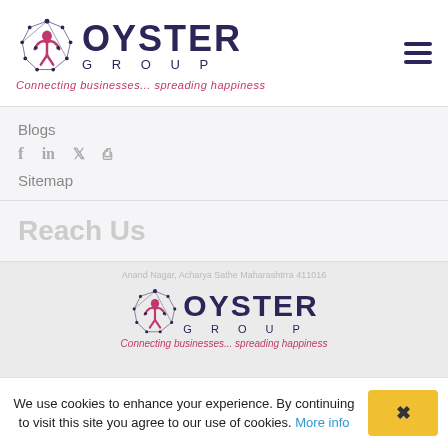[Figure (logo): Oyster Group logo with circular network/people icon, text OYSTER GROUP, tagline Connecting businesses... spreading happiness]
Blogs
Sitemap
Reach Us
Anand Nagar, Acharya Sathe Maharashtrra 411016
[Figure (logo): Oyster Group logo repeated at bottom, Connecting businesses... spreading happiness]
We use cookies to enhance your experience. By continuing to visit this site you agree to our use of cookies. More info